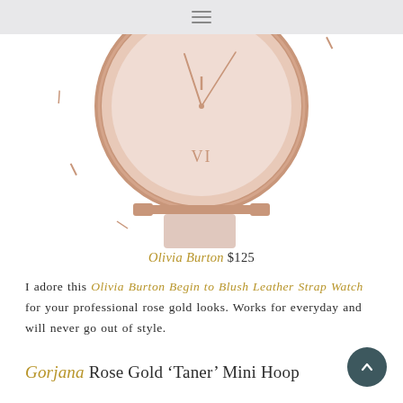≡
[Figure (photo): Close-up of an Olivia Burton rose gold watch with blush/cream dial, roman numeral VI visible, rose gold case and lugs, with a light pink leather strap end visible at the bottom. The watch face shows minimalist hour markers.]
Olivia Burton $125
I adore this Olivia Burton Begin to Blush Leather Strap Watch for your professional rose gold looks. Works for everyday and will never go out of style.
Gorjana Rose Gold 'Taner' Mini Hoop